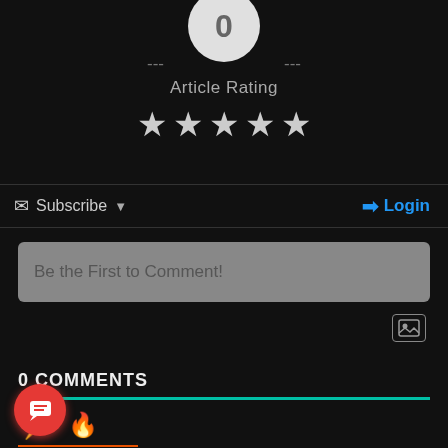[Figure (screenshot): Article rating section with avatar, dashes, 'Article Rating' label, and five grey stars on dark background]
--- ---
Article Rating
[Figure (other): Five grey star icons for article rating]
Subscribe ▾
Login
Be the First to Comment!
0 COMMENTS
[Figure (other): Lightning bolt icon (yellow) and flame icon (orange) for comment sort options]